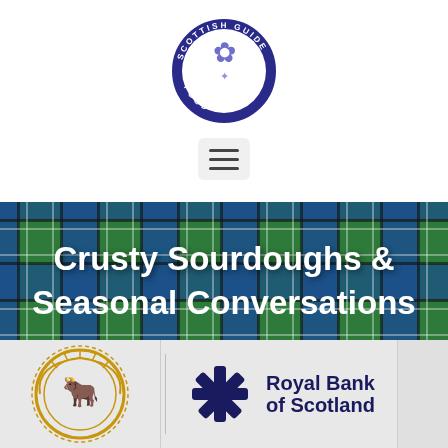[Figure (logo): Scottish Food Guide circular logo with thistle illustration and text 'SCOTTISH FOOD GUIDE' around the border, dark blue/navy circle]
[Figure (other): Hamburger menu button (three horizontal lines) on a light grey rounded rectangle background]
[Figure (other): Tartan pattern banner in green and blue with black and white lines, containing bold white text 'Crusty Sourdoughs & Seasonal Conversations']
[Figure (logo): Partial gold/yellow circular crest logo on left (appears to be a livestock/agriculture association emblem with bull), partially visible. Royal Bank of Scotland logo on right with navy blue snowflake/asterisk symbol and text 'Royal Bank of Scotland']